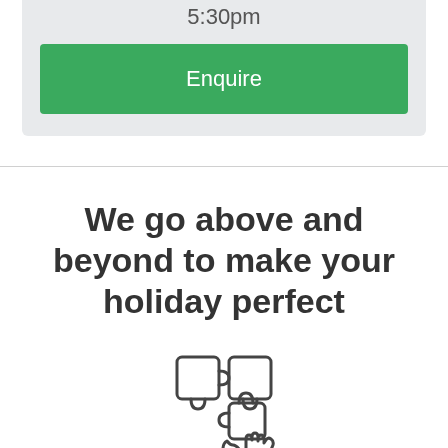5:30pm
Enquire
We go above and beyond to make your holiday perfect
[Figure (illustration): Puzzle pieces icon with a hand, outline style]